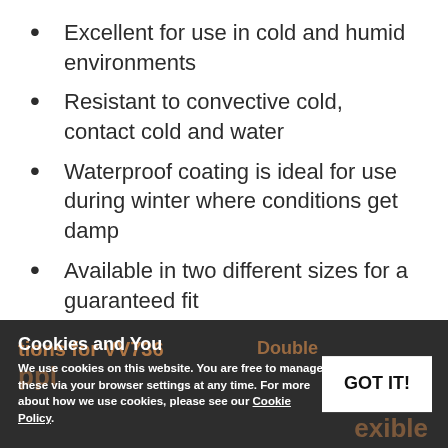Excellent for use in cold and humid environments
Resistant to convective cold, contact cold and water
Waterproof coating is ideal for use during winter where conditions get damp
Available in two different sizes for a guaranteed fit
Cookies and You
We use cookies on this website. You are free to manage these via your browser settings at any time. For more about how we use cookies, please see our Cookie Policy.
GOT IT!